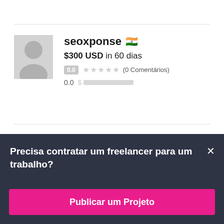[Figure (photo): Grey placeholder avatar silhouette]
seoxponse 🇮🇳
$300 USD in 60 dias
0.0 ★★★★★ (0 Comentários)
0.0 $ ██████████
Precisa contratar um freelancer para um trabalho?
Publicar um Projeto